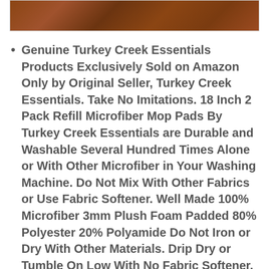[Figure (photo): Partial view of a wooden surface product image, showing wood grain texture in brown tones, cropped at the top of the page.]
Genuine Turkey Creek Essentials Products Exclusively Sold on Amazon Only by Original Seller, Turkey Creek Essentials. Take No Imitations. 18 Inch 2 Pack Refill Microfiber Mop Pads By Turkey Creek Essentials are Durable and Washable Several Hundred Times Alone or With Other Microfiber in Your Washing Machine. Do Not Mix With Other Fabrics or Use Fabric Softener. Well Made 100% Microfiber 3mm Plush Foam Padded 80% Polyester 20% Polyamide Do Not Iron or Dry With Other Materials. Drip Dry or Tumble On Low With No Fabric Softener.